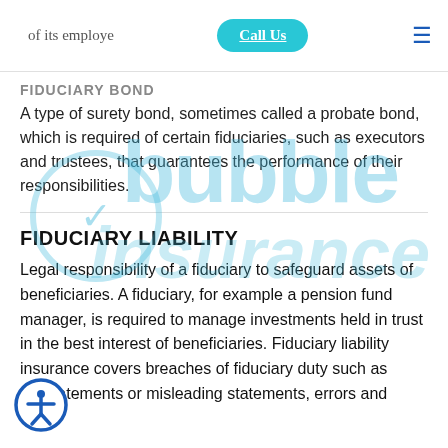of its employees
FIDUCIARY BOND
A type of surety bond, sometimes called a probate bond, which is required of certain fiduciaries, such as executors and trustees, that guarantees the performance of their responsibilities.
FIDUCIARY LIABILITY
Legal responsibility of a fiduciary to safeguard assets of beneficiaries. A fiduciary, for example a pension fund manager, is required to manage investments held in trust in the best interest of beneficiaries. Fiduciary liability insurance covers breaches of fiduciary duty such as misstatements or misleading statements, errors and